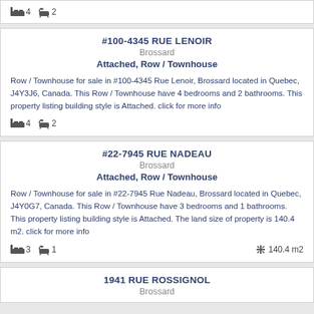🛏 4  🛁 2
#100-4345 RUE LENOIR
Brossard
Attached, Row / Townhouse
Row / Townhouse for sale in #100-4345 Rue Lenoir, Brossard located in Quebec, J4Y3J6, Canada. This Row / Townhouse have 4 bedrooms and 2 bathrooms. This property listing building style is Attached. click for more info
🛏 4  🛁 2
#22-7945 RUE NADEAU
Brossard
Attached, Row / Townhouse
Row / Townhouse for sale in #22-7945 Rue Nadeau, Brossard located in Quebec, J4Y0G7, Canada. This Row / Townhouse have 3 bedrooms and 1 bathrooms. This property listing building style is Attached. The land size of property is 140.4 m2. click for more info
🛏 3  🛁 1   ✛ 140.4 m2
1941 RUE ROSSIGNOL
Brossard